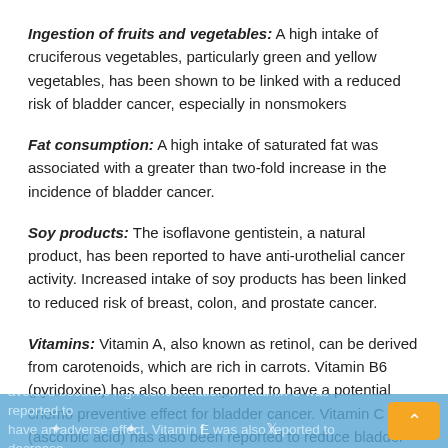Ingestion of fruits and vegetables: A high intake of cruciferous vegetables, particularly green and yellow vegetables, has been shown to be linked with a reduced risk of bladder cancer, especially in nonsmokers
Fat consumption: A high intake of saturated fat was associated with a greater than two-fold increase in the incidence of bladder cancer.
Soy products: The isoflavone gentistein, a natural product, has been reported to have anti-urothelial cancer activity. Increased intake of soy products has been linked to reduced risk of breast, colon, and prostate cancer.
Vitamins: Vitamin A, also known as retinol, can be derived from carotenoids, which are rich in carrots. Vitamin B6 (pyridoxine) has also been reported to have a potential chemo preventive effect for bladder cancer. Vitamin C (ascorbic acid) has also been reported to reduce bladder cancer risk, but high concentration should be avoided because high concentration of Vitamin C was reported to have an adverse effect. Vitamin E was also reported to decrease...